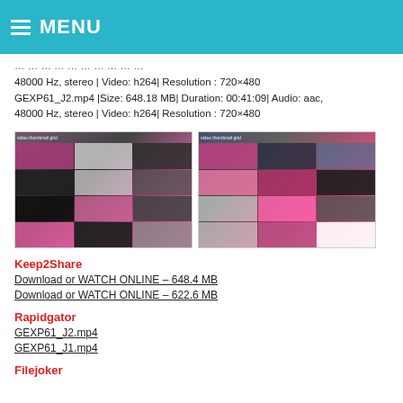MENU
48000 Hz, stereo | Video: h264| Resolution : 720×480
GEXP61_J2.mp4 |Size: 648.18 MB| Duration: 00:41:09| Audio: aac, 48000 Hz, stereo | Video: h264| Resolution : 720×480
[Figure (photo): Two video thumbnail grids side by side showing scenes from a video featuring a person in a pink costume]
Keep2Share
Download or WATCH ONLINE – 648.4 MB
Download or WATCH ONLINE – 622.6 MB
Rapidgator
GEXP61_J2.mp4
GEXP61_J1.mp4
Filejoker